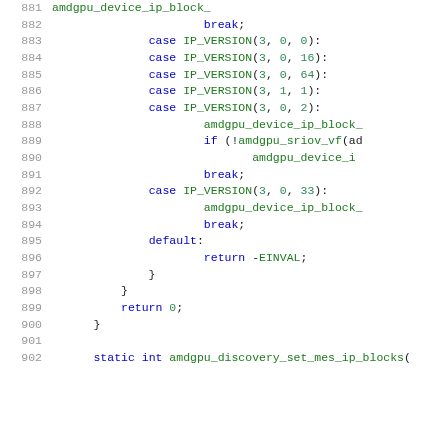[Figure (screenshot): Source code listing lines 881-902 of a C file showing a switch statement with cases for IP_VERSION macros, calling amdgpu_device_ip_block functions, and a static int function declaration for amdgpu_discovery_set_mes_ip_blocks.]